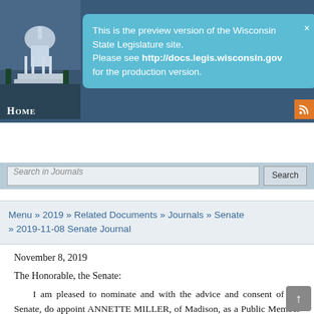[Figure (screenshot): Wisconsin State Legislature website header with capitol building image and blue preview notification tooltip]
This is the preview version of the Wisconsin State Legislature site. Please see http://docs.legis.wisconsin.gov for the production version.
Search in Journals | Search
Menu » 2019 » Related Documents » Journals » Senate » 2019-11-08 Senate Journal
November 8, 2019
The Honorable, the Senate:
I am pleased to nominate and with the advice and consent of the Senate, do appoint ANNETTE MILLER, of Madison, as a Public Member on the UW Hospitals and Clinics Authority Board, to serve for the term ending Ju